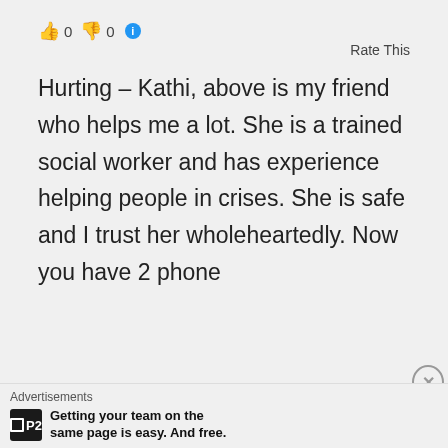[Figure (other): Thumbs up emoji, 0, thumbs down emoji, 0, info icon, Rate This rating widget]
Hurting – Kathi, above is my friend who helps me a lot. She is a trained social worker and has experience helping people in crises. She is safe and I trust her wholeheartedly. Now you have 2 phone
Advertisements
Getting your team on the same page is easy. And free.